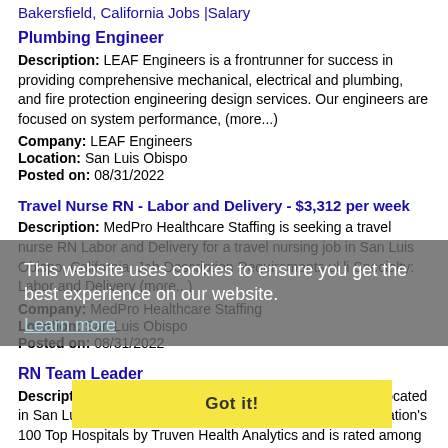Bakersfield, California Jobs |Salary
Plumbing Engineer
Description: LEAF Engineers is a frontrunner for success in providing comprehensive mechanical, electrical and plumbing, and fire protection engineering design services. Our engineers are focused on system performance, (more...)
Company: LEAF Engineers
Location: San Luis Obispo
Posted on: 08/31/2022
Travel Nurse RN - Labor and Delivery - $3,312 per week
Description: MedPro Healthcare Staffing is seeking a travel nurse RN Labor and Delivery for a travel nursing job in San Luis Obispo, California. Job Description Requirements ul li Specialty: Labor and Delivery (more...)
Company: MedPro Healthcare Staffing
Location: San Luis Obispo
Posted on: 08/31/2022
This website uses cookies to ensure you get the best experience on our website.
Learn more
RN Team Leader
Got it!
Description: Overview br French Hospital Medical Center located in San Luis Obispo California has been named one of the Nation's 100 Top Hospitals by Truven Health Analytics and is rated among the